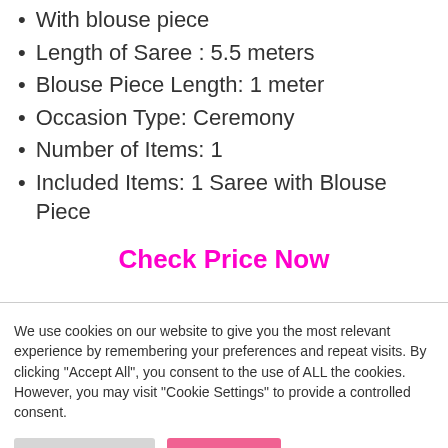With blouse piece
Length of Saree : 5.5 meters
Blouse Piece Length: 1 meter
Occasion Type: Ceremony
Number of Items: 1
Included Items: 1 Saree with Blouse Piece
Check Price Now
We use cookies on our website to give you the most relevant experience by remembering your preferences and repeat visits. By clicking “Accept All”, you consent to the use of ALL the cookies. However, you may visit “Cookie Settings” to provide a controlled consent.